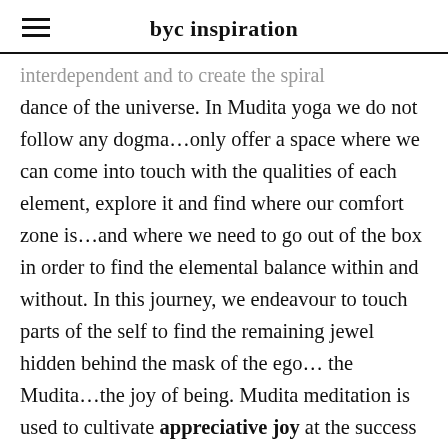byc inspiration
interdependent and to create the spiral dance of the universe. In Mudita yoga we do not follow any dogma…only offer a space where we can come into touch with the qualities of each element, explore it and find where our comfort zone is…and where we need to go out of the box in order to find the elemental balance within and without. In this journey, we endeavour to touch parts of the self to find the remaining jewel hidden behind the mask of the ego… the Mudita…the joy of being. Mudita meditation is used to cultivate appreciative joy at the success and good fortune of